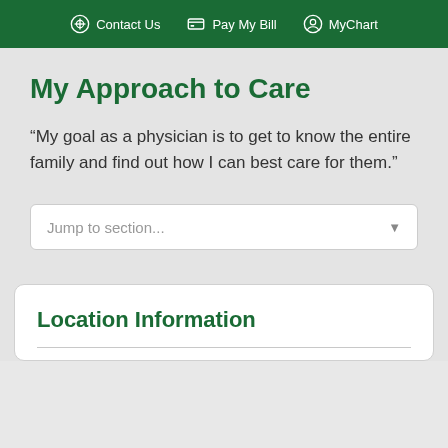Contact Us   Pay My Bill   MyChart
My Approach to Care
“My goal as a physician is to get to know the entire family and find out how I can best care for them.”
Jump to section...
Location Information